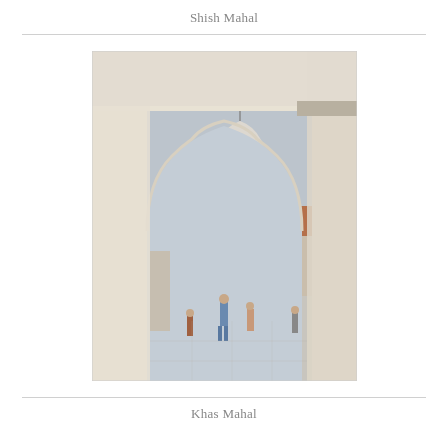Shish Mahal
[Figure (photo): Photograph taken from inside an ornate white marble Mughal arch (cusped/scalloped archway) looking out into a courtyard of the Khas Mahal complex. Through the arch is visible a white marble dome with a finial, a red-sandstone pavilion with a flat carved wooden ceiling supported by columns with cusped arches, and people walking on a white marble courtyard floor. The foreground arch is cream-white marble with intricate Mughal detailing.]
Khas Mahal